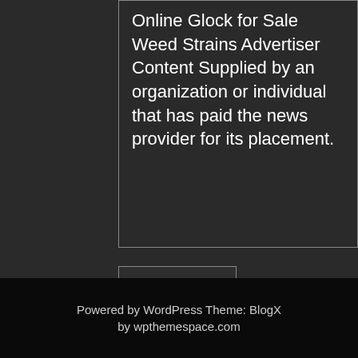Online Glock for Sale Weed Strains Advertiser Content Supplied by an organization or individual that has paid the news provider for its placement.
□□□□□pg□□□□□□□
Powered by WordPress Theme: BlogX by wpthemespace.com